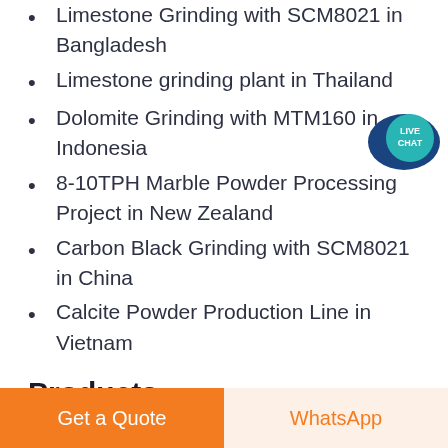Limestone Grinding with SCM8021 in Bangladesh
Limestone grinding plant in Thailand
Dolomite Grinding with MTM160 in Indonesia
8-10TPH Marble Powder Processing Project in New Zealand
Carbon Black Grinding with SCM8021 in China
Calcite Powder Production Line in Vietnam
Products
MB5X Grinding Mill
LUM Ultrafine Vertical Mill
Hammer Mill